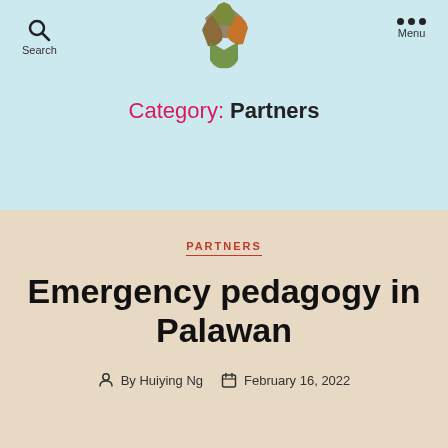Search | Menu
[Figure (logo): Colorful puzzle-piece style logo in green, gold, and red-brown tones]
Category: Partners
PARTNERS
Emergency pedagogy in Palawan
By Huiying Ng   February 16, 2022